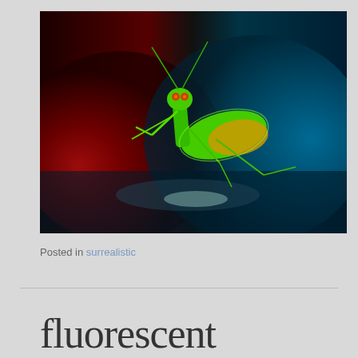[Figure (photo): A surrealistic/HDR processed photograph of a praying mantis. The image has vivid, fluorescent colors — bright green and yellow-orange on the mantis body — against a dramatic split background of deep red/crimson on the left and dark teal/blue on the right. The mantis appears to be standing on a reflective surface.]
Posted in surrealistic
fluorescent